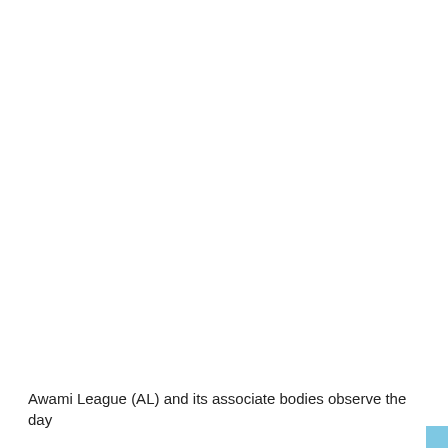Awami League (AL) and its associate bodies observe the day